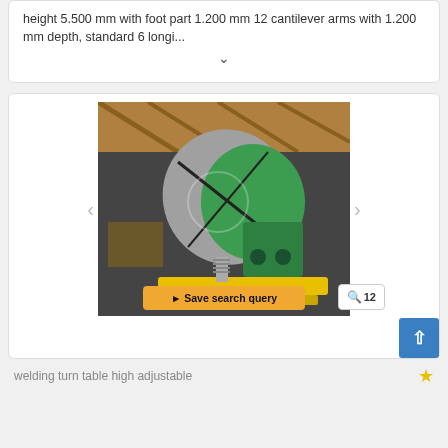height 5.500 mm with foot part 1.200 mm 12 cantilever arms with 1.200 mm depth, standard 6 longi...
[Figure (photo): A welding turn table (positioner) machine painted green and yellow, tilted at an angle, sitting on a yellow base frame inside an industrial warehouse with wooden ceiling beams. A Save search query button overlay is visible at the bottom of the image.]
welding turn table high adjustable